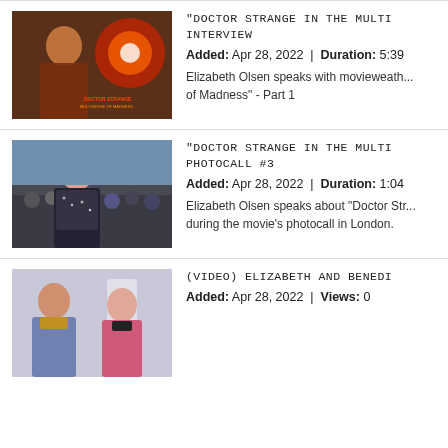[Figure (photo): Thumbnail of Elizabeth Olsen with Doctor Strange in the Multiverse of Madness movie poster]
"DOCTOR STRANGE IN THE MULTI... INTERVIEW
Added: Apr 28, 2022  |  Duration: 5:39
Elizabeth Olsen speaks with movieweath... of Madness" - Part 1
[Figure (photo): Thumbnail of Elizabeth Olsen at photocall event outdoors]
"DOCTOR STRANGE IN THE MULTI... PHOTOCALL #3
Added: Apr 28, 2022  |  Duration: 1:04
Elizabeth Olsen speaks about "Doctor Str... during the movie's photocall in London.
[Figure (photo): Thumbnail of Elizabeth Olsen and Benedict Cumberbatch in an interview setting]
(VIDEO) ELIZABETH AND BENEDI...
Added: Apr 28, 2022  |  Views: 0